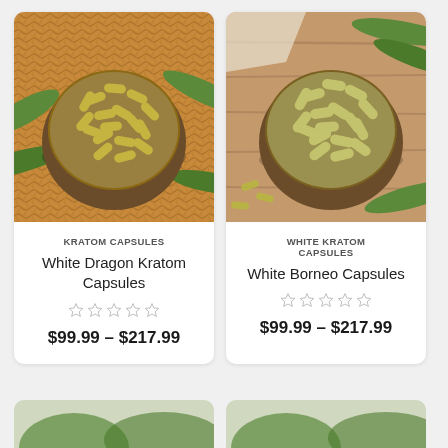[Figure (photo): Bowl of green kratom capsules on a wicker mat with palm leaves - top-down view]
KRATOM CAPSULES
White Dragon Kratom Capsules
☆☆☆☆☆
$99.99 – $217.99
[Figure (photo): Bowl of pale green kratom capsules on a wooden surface with palm leaves - top-down view]
WHITE KRATOM CAPSULES
White Borneo Capsules
☆☆☆☆☆
$99.99 – $217.99